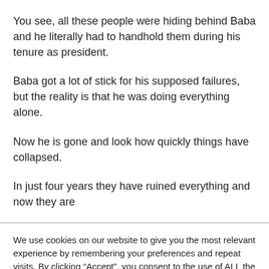You see, all these people were hiding behind Baba and he literally had to handhold them during his tenure as president.
Baba got a lot of stick for his supposed failures, but the reality is that he was doing everything alone.
Now he is gone and look how quickly things have collapsed.
In just four years they have ruined everything and now they are
We use cookies on our website to give you the most relevant experience by remembering your preferences and repeat visits. By clicking “Accept”, you consent to the use of ALL the cookies.
Do not sell my personal information.
Cookie settings   ACCEPT